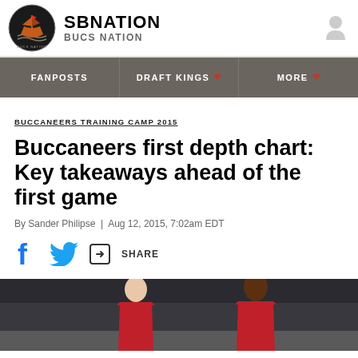SB NATION / BUCS NATION
FANPOSTS | DRAFT KINGS | MORE
BUCCANEERS TRAINING CAMP 2015
Buccaneers first depth chart: Key takeaways ahead of the first game
By Sander Philipse | Aug 12, 2015, 7:02am EDT
SHARE
[Figure (photo): Two football players in red jerseys at training camp]